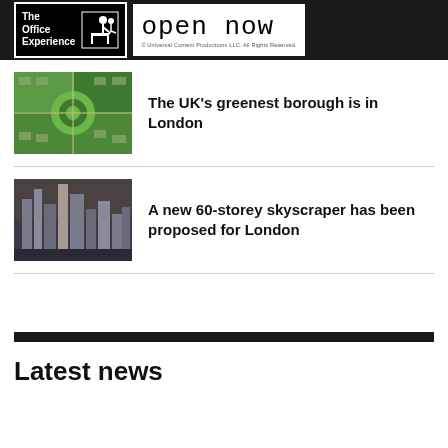[Figure (logo): The Office Experience logo with 'open now' text and copyright notice]
[Figure (photo): Aerial view of a green suburban borough in London with circular park]
The UK’s greenest borough is in London
[Figure (photo): Aerial view of London city skyscrapers at dusk]
A new 60-storey skyscraper has been proposed for London
Latest news